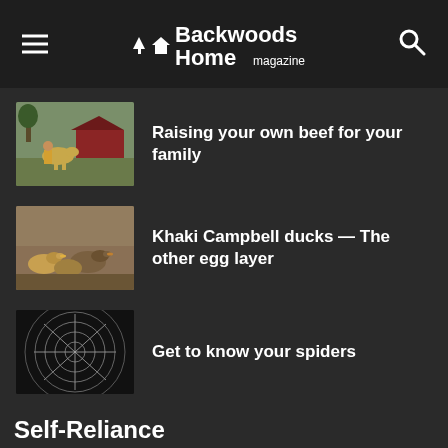Backwoods Home magazine
[Figure (photo): Painting of a person with cattle in front of a red barn, rural farm scene]
Raising your own beef for your family
[Figure (photo): Khaki Campbell ducks standing on the ground]
Khaki Campbell ducks — The other egg layer
[Figure (photo): Close-up of a spider web with geometric spiral pattern on dark background]
Get to know your spiders
Self-Reliance
[Figure (photo): Partial image of construction or self-reliance equipment, blue tones]